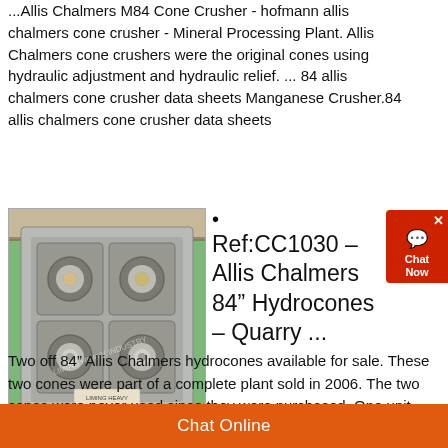...Allis Chalmers M84 Cone Crusher - hofmann allis chalmers cone crusher - Mineral Processing Plant. Allis Chalmers cone crushers were the original cones using hydraulic adjustment and hydraulic relief. ... 84 allis chalmers cone crusher data sheets Manganese Crusher.84 allis chalmers cone crusher data sheets
[Figure (photo): Photo of an Allis Chalmers 84 inch Hydrocone crusher component, showing a grey cast metal piece with four circular ports/chambers arranged in a 2x2 grid on a green background. Watermark text visible.]
Ref:CC1030 – Allis Chalmers 84" Hydrocones – Quarry ...
Two off 84" Allis Chalmers hydrocones available for sale. These two cones were part of a complete plant sold in 2006. The two cones were never used since they were purchased. One unit has a two arm spider
Chat Online